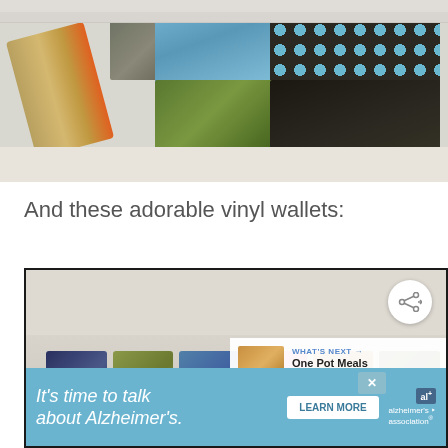[Figure (photo): A patchwork fabric bag/wristlet with colorful floral and polka dot fabric patches on a white wooden background]
And these adorable vinyl wallets:
[Figure (photo): Multiple colorful vinyl wallets with patterned fabric displayed on a shelf, with a 'WHAT'S NEXT One Pot Meals and Easy...' overlay and an Alzheimer's Association advertisement overlay at bottom reading "It's time to talk about Alzheimer's." with a LEARN MORE button]